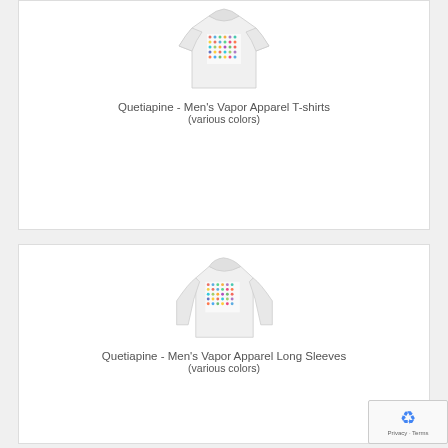[Figure (photo): White men's t-shirt with colorful dot pattern graphic on chest]
Quetiapine - Men's Vapor Apparel T-shirts
(various colors)
[Figure (photo): White men's long sleeve shirt with colorful dot pattern graphic on chest]
Quetiapine - Men's Vapor Apparel Long Sleeves
(various colors)